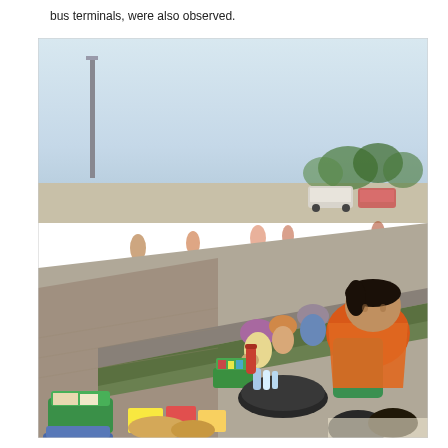bus terminals, were also observed.
[Figure (photo): Outdoor scene showing a row of people, mostly women, sitting along a curb or sidewalk edge in an open area. They have baskets and goods spread in front of them, appearing to be street vendors selling food and other items. In the background are more people, parked vehicles, and trees under an overcast sky. The woman in the foreground wears an orange and green outfit and has dark hair.]